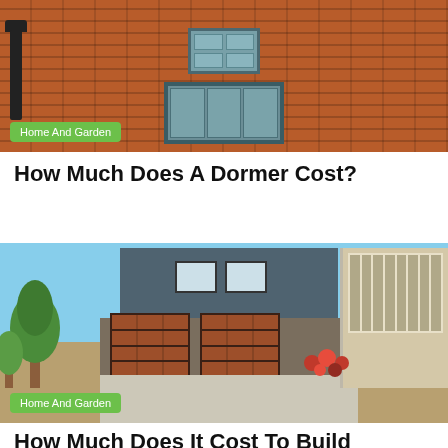[Figure (photo): Brick building facade with windows and lamp post, tagged as Home And Garden]
Home And Garden
How Much Does A Dormer Cost?
[Figure (photo): Modern house with garage doors, driveway, trees and flowers, tagged as Home And Garden]
Home And Garden
How Much Does It Cost To Build